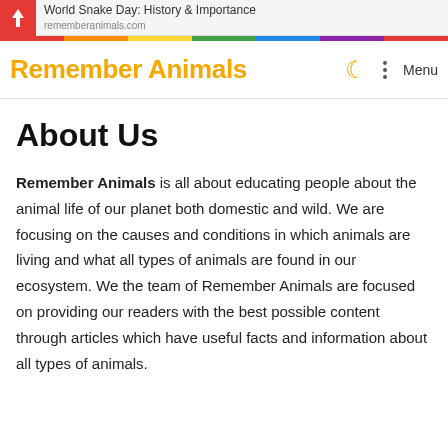World Snake Day: History & Importance
Remember Animals
About Us
Remember Animals is all about educating people about the animal life of our planet both domestic and wild. We are focusing on the causes and conditions in which animals are living and what all types of animals are found in our ecosystem. We the team of Remember Animals are focused on providing our readers with the best possible content through articles which have useful facts and information about all types of animals.